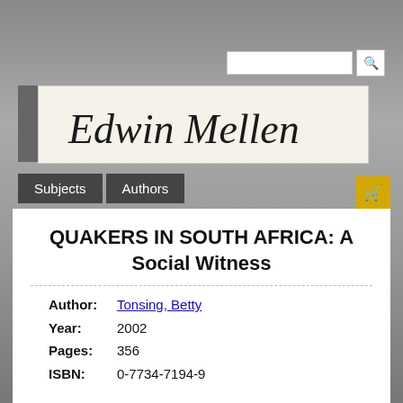[Figure (logo): Edwin Mellen Press cursive signature logo on cream background]
QUAKERS IN SOUTH AFRICA: A Social Witness
| Author: | Tonsing, Betty |
| Year: | 2002 |
| Pages: | 356 |
| ISBN: | 0-7734-7194-9 |